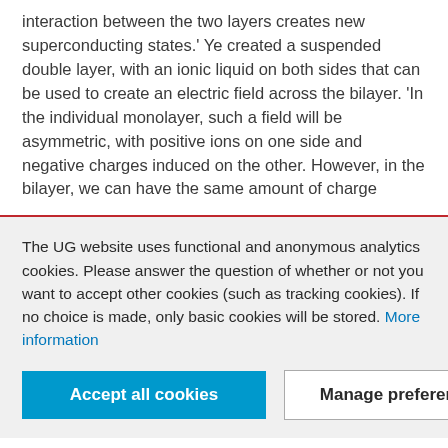interaction between the two layers creates new superconducting states.' Ye created a suspended double layer, with an ionic liquid on both sides that can be used to create an electric field across the bilayer. 'In the individual monolayer, such a field will be asymmetric, with positive ions on one side and negative charges induced on the other. However, in the bilayer, we can have the same amount of charge
The UG website uses functional and anonymous analytics cookies. Please answer the question of whether or not you want to accept other cookies (such as tracking cookies). If no choice is made, only basic cookies will be stored. More information
Accept all cookies
Manage preferences